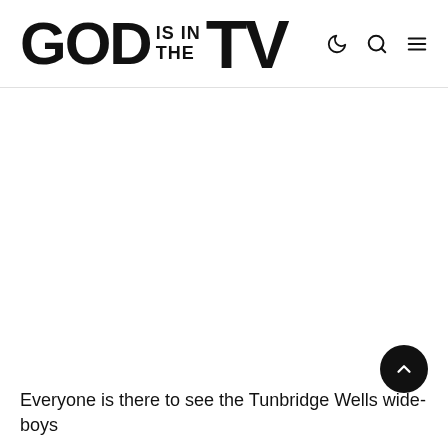GOD IS IN THE TV
Everyone is there to see the Tunbridge Wells wide-boys